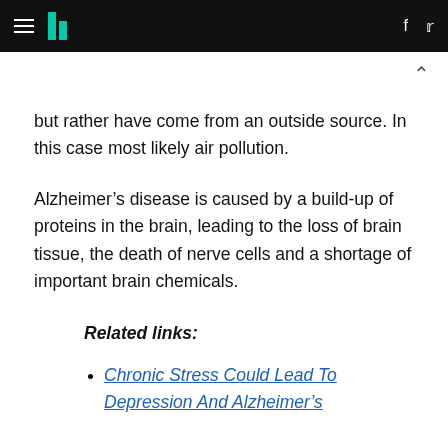HuffPost navigation header with logo, hamburger menu, Facebook and Twitter icons
but rather have come from an outside source. In this case most likely air pollution.
Alzheimer's disease is caused by a build-up of proteins in the brain, leading to the loss of brain tissue, the death of nerve cells and a shortage of important brain chemicals.
Related links:
Chronic Stress Could Lead To Depression And Alzheimer's